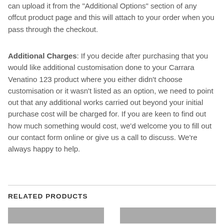can upload it from the "Additional Options" section of any offcut product page and this will attach to your order when you pass through the checkout.
Additional Charges: If you decide after purchasing that you would like additional customisation done to your Carrara Venatino 123 product where you either didn't choose customisation or it wasn't listed as an option, we need to point out that any additional works carried out beyond your initial purchase cost will be charged for. If you are keen to find out how much something would cost, we'd welcome you to fill out our contact form online or give us a call to discuss. We're always happy to help.
RELATED PRODUCTS
[Figure (photo): Thumbnail image placeholder (left)]
[Figure (photo): Thumbnail image placeholder (right)]